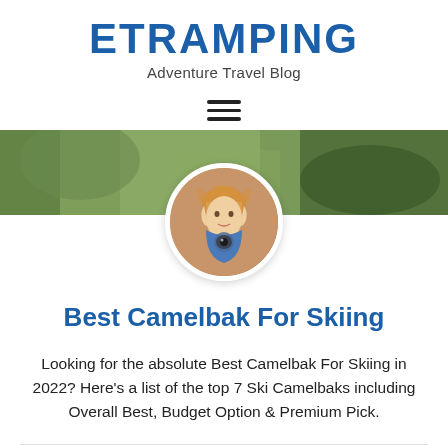ETRAMPING
Adventure Travel Blog
[Figure (other): Hamburger menu icon with three horizontal lines]
[Figure (photo): A blonde woman holding a camera, shown in a circular avatar with a nature/outdoor background banner]
Best Camelbak For Skiing
Looking for the absolute Best Camelbak For Skiing in 2022? Here’s a list of the top 7 Ski Camelbaks including Overall Best, Budget Option & Premium Pick.
August 24, 2022 · No Comments